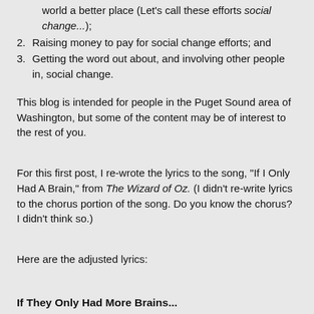world a better place (Let's call these efforts social change...);
2. Raising money to pay for social change efforts; and
3. Getting the word out about, and involving other people in, social change.
This blog is intended for people in the Puget Sound area of Washington, but some of the content may be of interest to the rest of you.
For this first post, I re-wrote the lyrics to the song, "If I Only Had A Brain," from The Wizard of Oz. (I didn't re-write lyrics to the chorus portion of the song. Do you know the chorus? I didn't think so.)
Here are the adjusted lyrics:
If They Only Had More Brains...